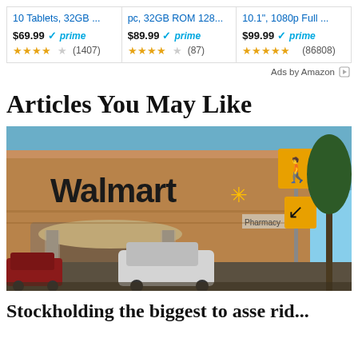[Figure (screenshot): Amazon ads row showing three tablet products with prices, Prime badges, star ratings, and review counts. Product 1: '10 Tablets, 32GB …' $69.99 prime, 3.5 stars (1407). Product 2: 'pc, 32GB ROM 128…' $89.99 prime, 3.5 stars (87). Product 3: '10.1", 1080p Full …' $99.99 prime, 4.5 stars (86808).]
Ads by Amazon
Articles You May Like
[Figure (photo): Photograph of a Walmart store exterior at dusk/golden hour. The brown brick facade displays the 'Walmart' logo with the sunburst spark. A pharmacy sign is visible. A white SUV is parked in front. Road signs (pedestrian crossing, arrow) are visible on the right.]
Stockholding the biggest to asse rid...